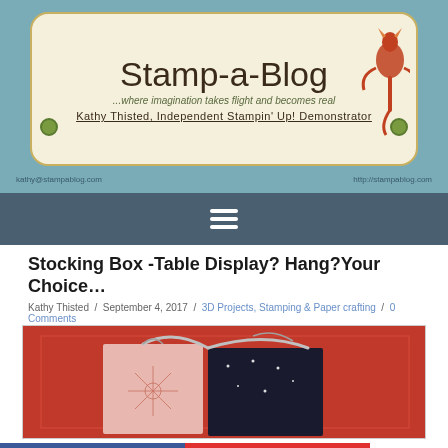[Figure (logo): Stamp-a-Blog header logo with teal background, cream badge with blog title, tagline, and demonstrator name, with dragon illustration on right side]
[Figure (other): Navigation bar with hamburger menu icon on dark slate background]
Stocking Box -Table Display? Hang?Your Choice…
Kathy Thisted / September 4, 2017 / 3D Projects, Stamping & Paper crafting / 0 Comments
[Figure (photo): Photo of decorative stocking boxes with glittery handles on a red background — pink starburst pattern box and black starry night pattern box]
f | Pinterest 30 | < 30 SHARES